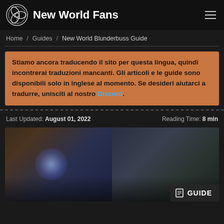New World Fans
Home / Guides / New World Blunderbuss Guide
Stiamo ancora traducendo il sito per questa lingua, quindi incontrerai traduzioni mancanti. Gli articoli e le guide sono disponibili solo in inglese al momento. Se desideri aiutarci a tradurre, unisciti al nostro Discord.
Last Updated: August 01, 2022   Reading Time: 8 min
[Figure (photo): Hero image for New World Blunderbuss Guide showing game characters and a GUIDE badge overlay]